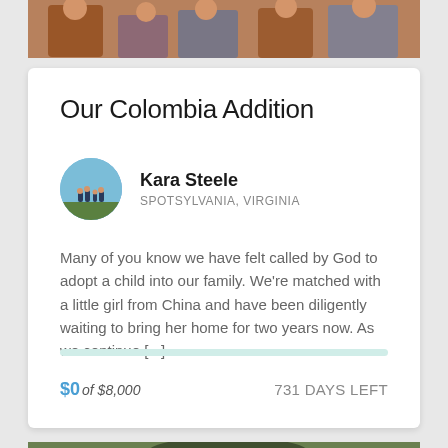[Figure (photo): Top portion of a family photo showing people seated, partially cropped]
Our Colombia Addition
Kara Steele
SPOTSYLVANIA, VIRGINIA
Many of you know we have felt called by God to adopt a child into our family. We're matched with a little girl from China and have been diligently waiting to bring her home for two years now. As we continue [...]
$0 of $8,000   731 DAYS LEFT
[Figure (photo): Bottom portion of a family outdoor photo showing adults and a child, partially cropped at top]